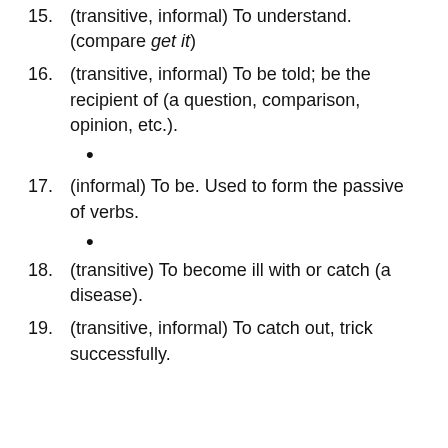15. (transitive, informal) To understand. (compare get it)
16. (transitive, informal) To be told; be the recipient of (a question, comparison, opinion, etc.).
•
17. (informal) To be. Used to form the passive of verbs.
•
18. (transitive) To become ill with or catch (a disease).
19. (transitive, informal) To catch out, trick successfully.